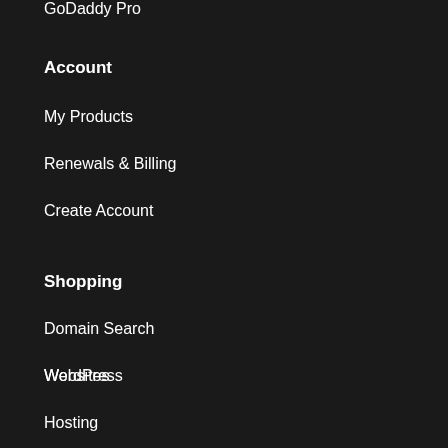GoDaddy Pro
Account
My Products
Renewals & Billing
Create Account
Shopping
Domain Search
Websites
WordPress
Hosting
Web Security
Email & Office